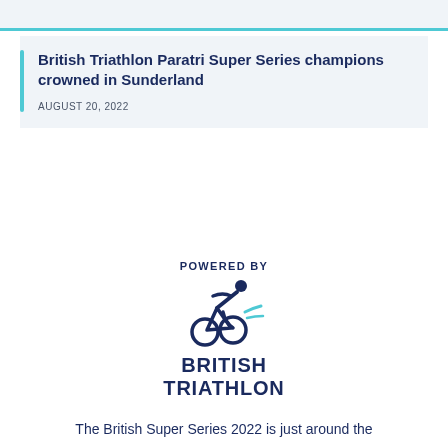British Triathlon Paratri Super Series champions crowned in Sunderland
AUGUST 20, 2022
[Figure (logo): POWERED BY British Triathlon logo — cyclist icon above the words BRITISH TRIATHLON in dark navy bold text]
The British Super Series 2022 is just around the